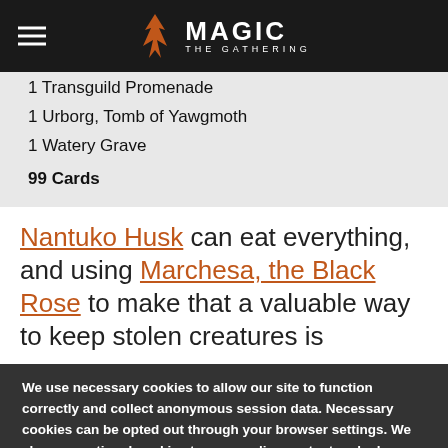Magic: The Gathering
1 Transguild Promenade
1 Urborg, Tomb of Yawgmoth
1 Watery Grave
99 Cards
Nantuko Husk can eat everything, and using Marchesa, the Black Rose to make that a valuable way to keep stolen creatures is
We use necessary cookies to allow our site to function correctly and collect anonymous session data. Necessary cookies can be opted out through your browser settings. We also use optional cookies to personalize content and ads, provide social medial features and analyze web traffic. By clicking "OK, I agree," you consent to optional cookies. (Learn more about cookies.)